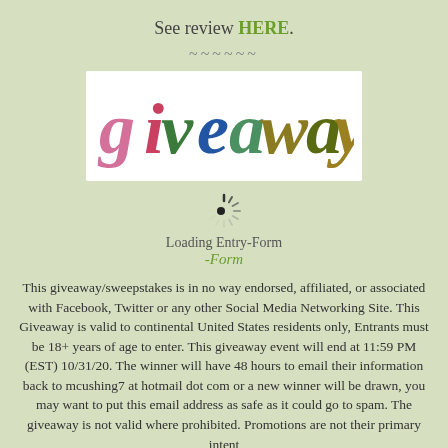See review HERE.
~~~~~~
[Figure (illustration): Colorful glittery 'giveaway' text logo on white background, with each letter in different colors (pink, red, green, blue, olive, gold)]
Loading Entry-Form
-Form
This giveaway/sweepstakes is in no way endorsed, affiliated, or associated with Facebook, Twitter or any other Social Media Networking Site. This Giveaway is valid to continental United States residents only, Entrants must be 18+ years of age to enter. This giveaway event will end at 11:59 PM (EST) 10/31/20. The winner will have 48 hours to email their information back to mcushing7 at hotmail dot com or a new winner will be drawn, you may want to put this email address as safe as it could go to spam. The giveaway is not valid where prohibited. Promotions are not their primary intent